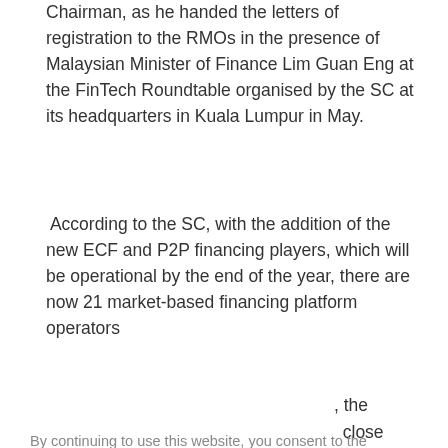Chairman, as he handed the letters of registration to the RMOs in the presence of Malaysian Minister of Finance Lim Guan Eng at the FinTech Roundtable organised by the SC at its headquarters in Kuala Lumpur in May.
According to the SC, with the addition of the new ECF and P2P financing players, which will be operational by the end of the year, there are now 21 market-based financing platform operators
, the
l close
nearly
By continuing to use this website, you consent to the use of cookies in accordance with our Cookie Policy.
unding
its
ursuant